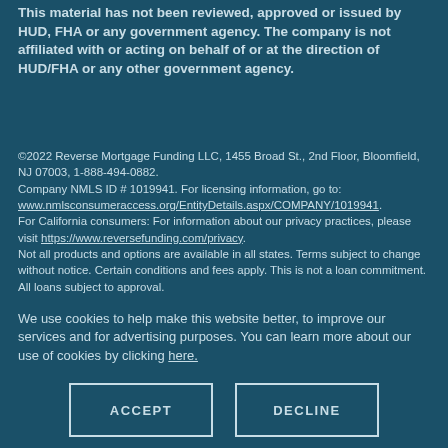This material has not been reviewed, approved or issued by HUD, FHA or any government agency. The company is not affiliated with or acting on behalf of or at the direction of HUD/FHA or any other government agency.
©2022 Reverse Mortgage Funding LLC, 1455 Broad St., 2nd Floor, Bloomfield, NJ 07003, 1-888-494-0882. Company NMLS ID # 1019941. For licensing information, go to: www.nmlsconsumeraccess.org/EntityDetails.aspx/COMPANY/1019941. For California consumers: For information about our privacy practices, please visit https://www.reversefunding.com/privacy. Not all products and options are available in all states. Terms subject to change without notice. Certain conditions and fees apply. This is not a loan commitment. All loans subject to approval.
We use cookies to help make this website better, to improve our services and for advertising purposes. You can learn more about our use of cookies by clicking here.
ACCEPT
DECLINE